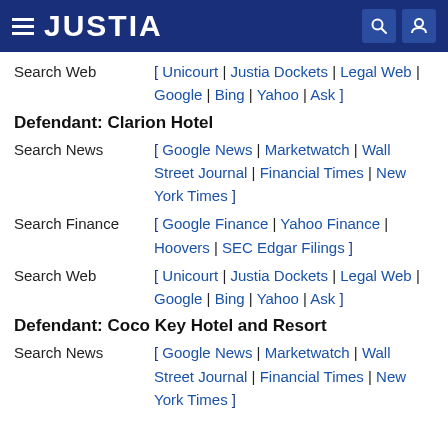JUSTIA
Search Web [ Unicourt | Justia Dockets | Legal Web | Google | Bing | Yahoo | Ask ]
Defendant: Clarion Hotel
Search News [ Google News | Marketwatch | Wall Street Journal | Financial Times | New York Times ]
Search Finance [ Google Finance | Yahoo Finance | Hoovers | SEC Edgar Filings ]
Search Web [ Unicourt | Justia Dockets | Legal Web | Google | Bing | Yahoo | Ask ]
Defendant: Coco Key Hotel and Resort
Search News [ Google News | Marketwatch | Wall Street Journal | Financial Times | New York Times ]